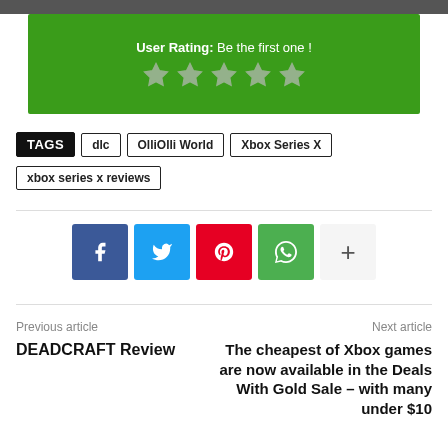User Rating: Be the first one !
[Figure (other): Five empty star icons for user rating]
TAGS  dlc  OlliOlli World  Xbox Series X  xbox series x reviews
[Figure (other): Social share buttons: Facebook, Twitter, Pinterest, WhatsApp, More]
Previous article
DEADCRAFT Review
Next article
The cheapest of Xbox games are now available in the Deals With Gold Sale – with many under $10